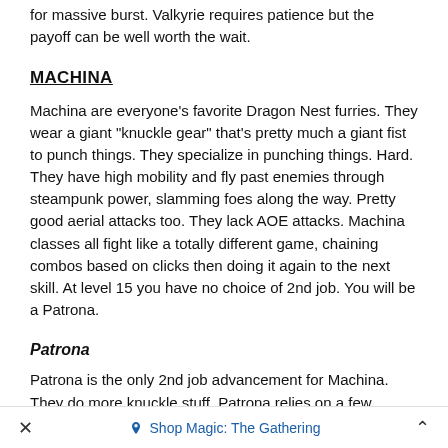for massive burst. Valkyrie requires patience but the payoff can be well worth the wait.
MACHINA
Machina are everyone's favorite Dragon Nest furries. They wear a giant "knuckle gear" that's pretty much a giant fist to punch things. They specialize in punching things. Hard. They have high mobility and fly past enemies through steampunk power, slamming foes along the way. Pretty good aerial attacks too. They lack AOE attacks. Machina classes all fight like a totally different game, chaining combos based on clicks then doing it again to the next skill. At level 15 you have no choice of 2nd job. You will be a Patrona.
Patrona
Patrona is the only 2nd job advancement for Machina. They do more knuckle stuff. Patrona relies on a few different passives that make comboing a necessity. Some skills combo into others, increasing action
× Shop Magic: The Gathering ^